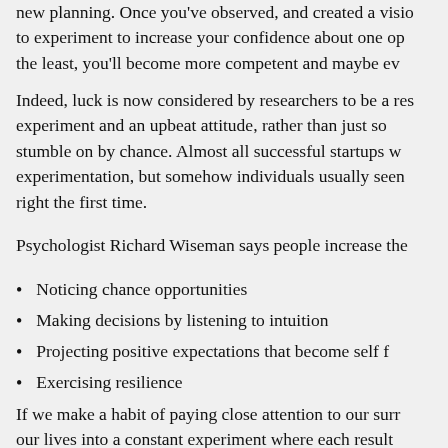new planning. Once you've observed, and created a vision to experiment to increase your confidence about one op the least, you'll become more competent and maybe ev
Indeed, luck is now considered by researchers to be a res experiment and an upbeat attitude, rather than just so stumble on by chance. Almost all successful startups w experimentation, but somehow individuals usually seen right the first time.
Psychologist Richard Wiseman says people increase the
Noticing chance opportunities
Making decisions by listening to intuition
Projecting positive expectations that become self f
Exercising resilience
If we make a habit of paying close attention to our surr our lives into a constant experiment where each result picture, not an end in itself. Inventor Thomas Edison co failed experiments in his life, but his persistence led him breakthrough. Negative results about the best hi